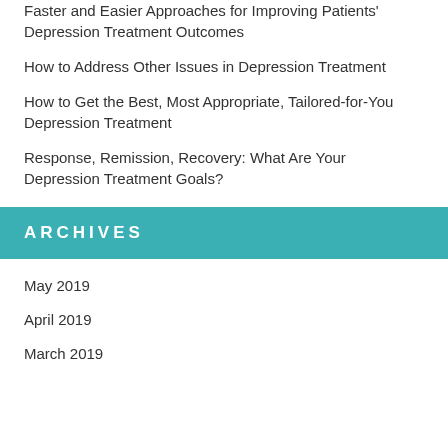Faster and Easier Approaches for Improving Patients' Depression Treatment Outcomes
How to Address Other Issues in Depression Treatment
How to Get the Best, Most Appropriate, Tailored-for-You Depression Treatment
Response, Remission, Recovery: What Are Your Depression Treatment Goals?
ARCHIVES
May 2019
April 2019
March 2019